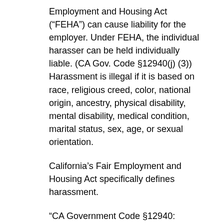Employment and Housing Act (“FEHA”) can cause liability for the employer. Under FEHA, the individual harasser can be held individually liable. (CA Gov. Code §12940(j) (3)) Harassment is illegal if it is based on race, religious creed, color, national origin, ancestry, physical disability, mental disability, medical condition, marital status, sex, age, or sexual orientation.
California’s Fair Employment and Housing Act specifically defines harassment.
“CA Government Code §12940:
It shall be an unlawful employment practice, unless based upon a bona fide occupational qualification, or, except where based upon applicable security regulations established by